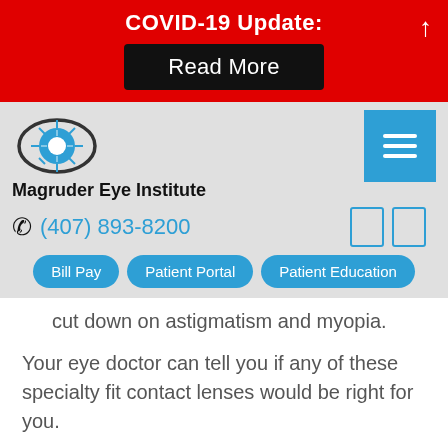COVID-19 Update: Read More
[Figure (logo): Magruder Eye Institute logo: eye with blue iris and radiating lines]
Magruder Eye Institute
(407) 893-8200
Bill Pay   Patient Portal   Patient Education
cut down on astigmatism and myopia.
Your eye doctor can tell you if any of these specialty fit contact lenses would be right for you.
They're Available in